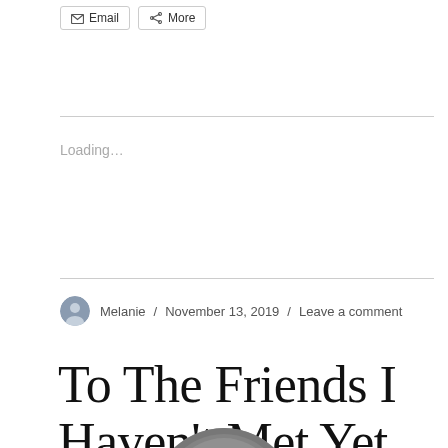Email  More
Loading...
Melanie / November 13, 2019 / Leave a comment
To The Friends I Haven't Met Yet
[Figure (photo): Top portion of a person's head / hair, shown from above, cropped at bottom of page]